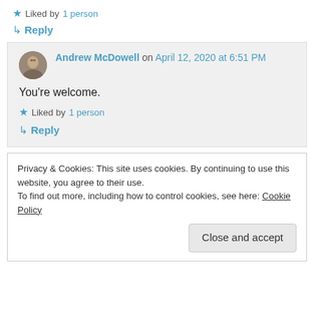★ Liked by 1 person
↳ Reply
Andrew McDowell on April 12, 2020 at 6:51 PM
You're welcome.
★ Liked by 1 person
↳ Reply
Privacy & Cookies: This site uses cookies. By continuing to use this website, you agree to their use. To find out more, including how to control cookies, see here: Cookie Policy
Close and accept